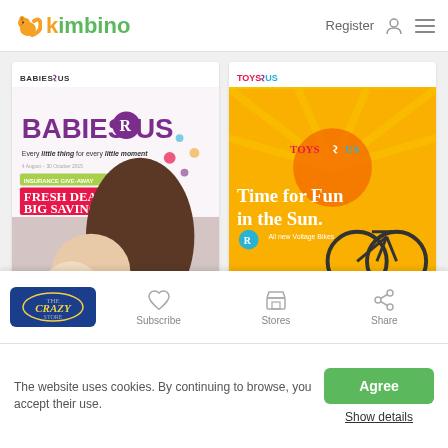kimbino — Register
[Figure (screenshot): Babies R Us catalog card showing mother kissing baby with text: Every little thing for every little moment, FRESH DEALS & BIG SAVINGS]
[Figure (screenshot): Toys R Us catalog card with yellow/orange background showing bicycle and text: Time for Fun in the Sun. All new Voltage Bikes]
[Figure (logo): The Crazy Store logo in blue oval on dark blue background]
Subscribe
Stores
Share
The website uses cookies. By continuing to browse, you accept their use.
Agree
Show details